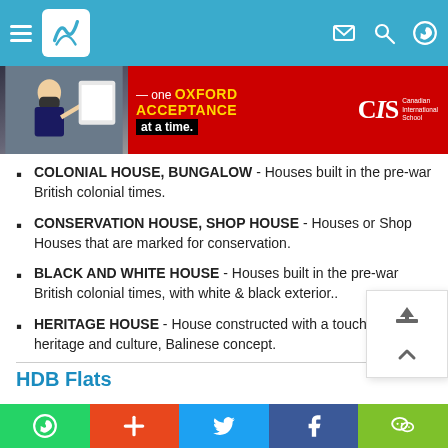Navigation header with menu, logo, mail, search, and WhatsApp icons
[Figure (infographic): Advertisement banner for Canadian International School - one OXFORD ACCEPTANCE at a time.]
COLONIAL HOUSE, BUNGALOW - Houses built in the pre-war British colonial times.
CONSERVATION HOUSE, SHOP HOUSE - Houses or Shop Houses that are marked for conservation.
BLACK AND WHITE HOUSE - Houses built in the pre-war British colonial times, with white & black exterior..
HERITAGE HOUSE - House constructed with a touch of Asian heritage and culture, Balinese concept.
HDB Flats